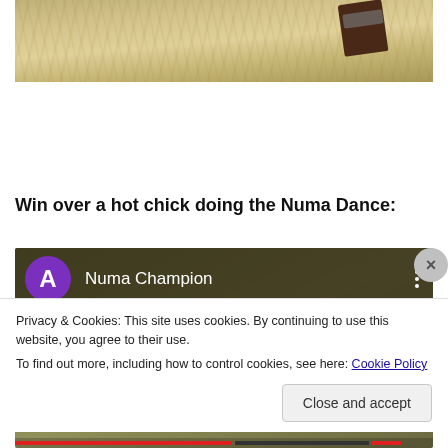[Figure (photo): Top portion of a photo showing a fluffy cream/tan fur surface with a dark brown object in the upper right area]
Win over a hot chick doing the Numa Dance:
[Figure (screenshot): Screenshot of a video player showing a YouTube-style video card with a purple avatar circle with letter A, channel name 'Numa Champion', and three vertical dots menu icon. Overlaid by a cookie consent banner.]
Privacy & Cookies: This site uses cookies. By continuing to use this website, you agree to their use.
To find out more, including how to control cookies, see here: Cookie Policy
Close and accept